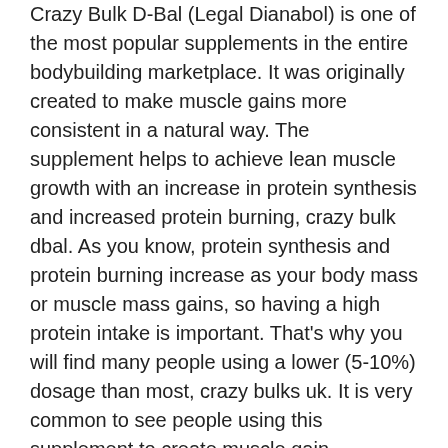Crazy Bulk D-Bal (Legal Dianabol) is one of the most popular supplements in the entire bodybuilding marketplace. It was originally created to make muscle gains more consistent in a natural way. The supplement helps to achieve lean muscle growth with an increase in protein synthesis and increased protein burning, crazy bulk dbal. As you know, protein synthesis and protein burning increase as your body mass or muscle mass gains, so having a high protein intake is important. That's why you will find many people using a lower (5-10%) dosage than most, crazy bulks uk. It is very common to see people using this supplement to create muscle gain, crazybulk growth stack. Of course, people have their preference, they say it makes them feel bloated/full, and that's why you will often see them taking between 6-10mg every 3-4 hours for several days. These supplements help to achieve bodybuilding gains.